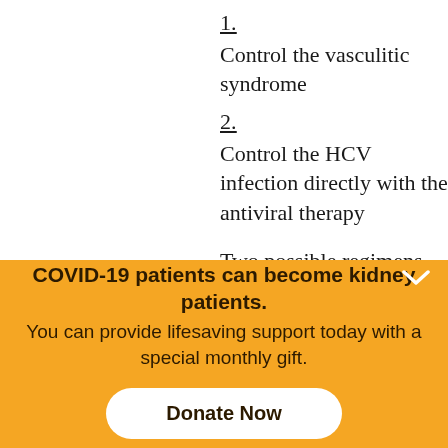1. Control the vasculitic syndrome
2. Control the HCV infection directly with the antiviral therapy
Two possible regimens should be considered for the treatment,
COVID-19 patients can become kidney patients. You can provide lifesaving support today with a special monthly gift.
Donate Now